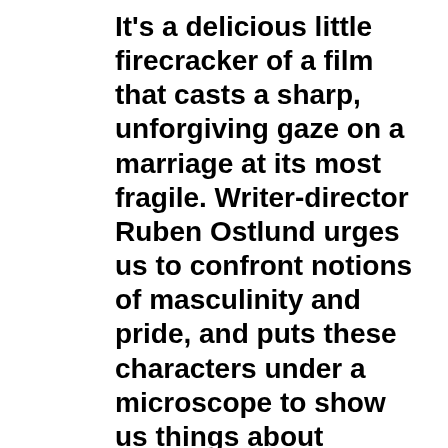It's a delicious little firecracker of a film that casts a sharp, unforgiving gaze on a marriage at its most fragile. Writer-director Ruben Ostlund urges us to confront notions of masculinity and pride, and puts these characters under a microscope to show us things about human nature – and ourselves – that we'd rather not see.
I should warn you that the film is occasionally